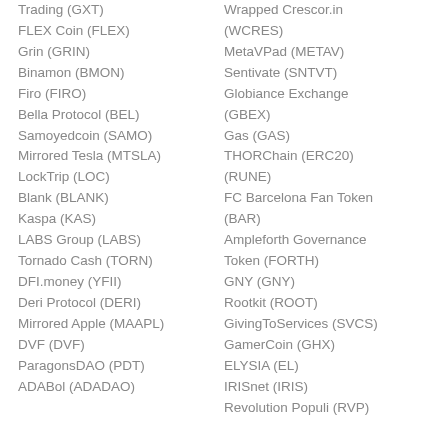Trading (GXT)
FLEX Coin (FLEX)
Grin (GRIN)
Binamon (BMON)
Firo (FIRO)
Bella Protocol (BEL)
Samoyedcoin (SAMO)
Mirrored Tesla (MTSLA)
LockTrip (LOC)
Blank (BLANK)
Kaspa (KAS)
LABS Group (LABS)
Tornado Cash (TORN)
DFI.money (YFII)
Deri Protocol (DERI)
Mirrored Apple (MAAPL)
DVF (DVF)
ParagonsDAO (PDT)
ADABol (ADADAO)
Wrapped Crescor.in (WCRES)
MetaVPad (METAV)
Sentivate (SNTVT)
Globiance Exchange (GBEX)
Gas (GAS)
THORChain (ERC20) (RUNE)
FC Barcelona Fan Token (BAR)
Ampleforth Governance Token (FORTH)
GNY (GNY)
Rootkit (ROOT)
GivingToServices (SVCS)
GamerCoin (GHX)
ELYSIA (EL)
IRISnet (IRIS)
Revolution Populi (RVP)